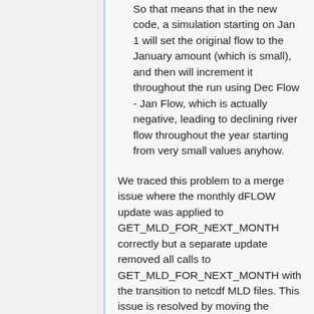So that means that in the new code, a simulation starting on Jan 1 will set the original flow to the January amount (which is small), and then will increment it throughout the run using Dec Flow - Jan Flow, which is actually negative, leading to declining river flow throughout the year starting from very small values anyhow.
We traced this problem to a merge issue where the monthly dFLOW update was applied to GET_MLD_FOR_NEXT_MONTH correctly but a separate update removed all calls to GET_MLD_FOR_NEXT_MONTH with the transition to netcdf MLD files. This issue is resolved by moving the dFLOW update to within the ITS_MIDMONTH() IF statement in OCEAN_MERCURY_FLUX and